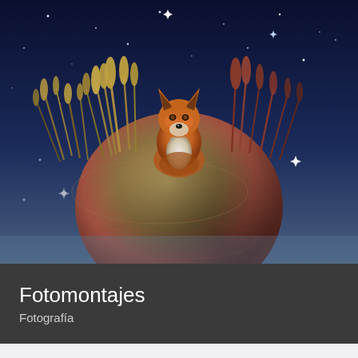[Figure (illustration): Surreal digital photomontage illustration: a red fox sits atop a floating spherical planet/rock covered with golden and brown wild grasses/wheat. The background is a deep night sky with scattered white stars and star shapes. The planet is brown/earthy with a reddish lower portion. The overall scene is a fantasy-style composited image.]
Fotomontajes
Fotografía